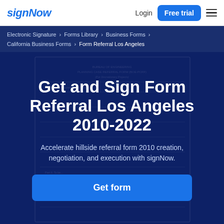signNow  Login  Free trial
Electronic Signature › Forms Library › Business Forms › California Business Forms › Form Referral Los Angeles
Get and Sign Form Referral Los Angeles 2010-2022
Accelerate hillside referral form 2010 creation, negotiation, and execution with signNow.
Get form